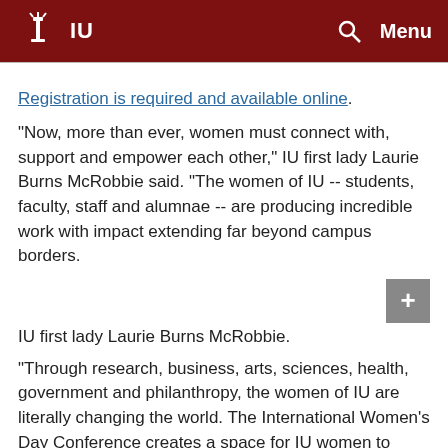IU  Menu
Registration is required and available online.
"Now, more than ever, women must connect with, support and empower each other," IU first lady Laurie Burns McRobbie said. "The women of IU -- students, faculty, staff and alumnae -- are producing incredible work with impact extending far beyond campus borders.
[Figure (photo): Photo of IU first lady Laurie Burns McRobbie with a plus/expand button overlay in the corner]
IU first lady Laurie Burns McRobbie.
"Through research, business, arts, sciences, health, government and philanthropy, the women of IU are literally changing the world. The International Women's Day Conference creates a space for IU women to come